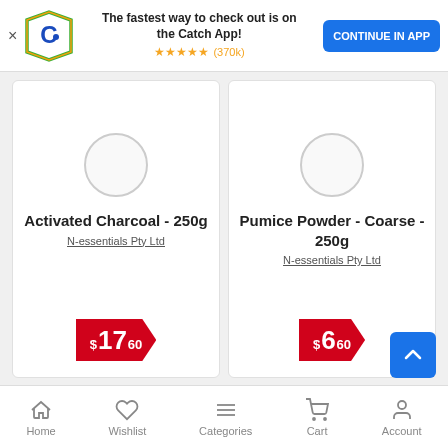[Figure (screenshot): App banner with Catch logo, promotional text, star rating, and Continue in App button]
The fastest way to check out is on the Catch App!
★★★★★ (370k)
CONTINUE IN APP
Activated Charcoal - 250g
N-essentials Pty Ltd
$17.60
Pumice Powder - Coarse - 250g
N-essentials Pty Ltd
$6.60
Home  Wishlist  Categories  Cart  Account